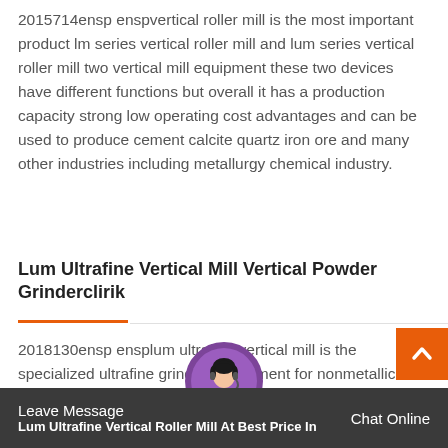2015714ensp enspvertical roller mill is the most important product lm series vertical roller mill and lum series vertical roller mill two vertical mill equipment these two devices have different functions but overall it has a production capacity strong low operating cost advantages and can be used to produce cement calcite quartz iron ore and many other industries including metallurgy chemical industry.
Lum Ultrafine Vertical Mill Vertical Powder Grinderclirik
2018130ensp ensplum ultrafine vertical mill is the specialized ultrafine grinding equipment for nonmetallic ores it suits for grinding nonflammable nonexplosive brittle materials with mohs hardness below 6 such as limestone calcite marble dolomite brucite.
Leave Message   Chat Online   Lum Ultrafine Vertical Roller Mill At Best Price In